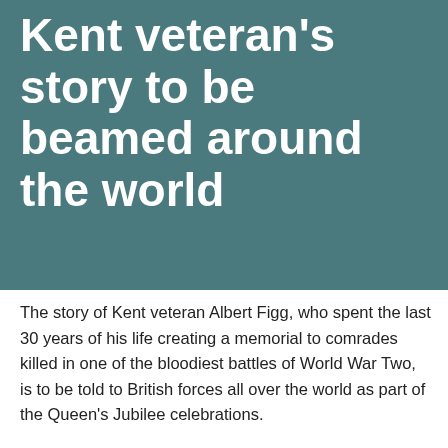Kent veteran's story to be beamed around the world
The story of Kent veteran Albert Figg, who spent the last 30 years of his life creating a memorial to comrades killed in one of the bloodiest battles of World War Two, is to be told to British forces all over the world as part of the Queen's Jubilee celebrations.
Albert, who died in 2017 at the age of 97, was the inspiration behind A Canterbury Tale; Albert Figg and The Battle for Hill 112, a documentary film produced and directed by Kent film-maker Peter Williams for the Kent-based Hill 112 Memorial Foundation.